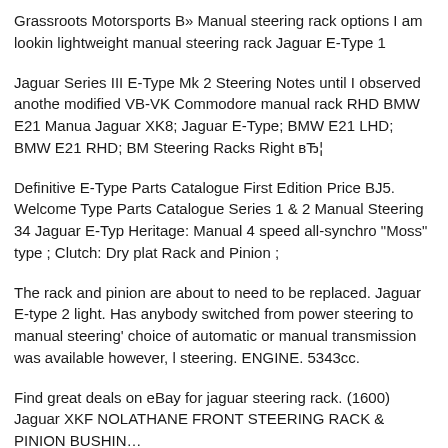Grassroots Motorsports B» Manual steering rack options I am looking lightweight manual steering rack Jaguar E-Type 1
Jaguar Series III E-Type Mk 2 Steering Notes until I observed another modified VB-VK Commodore manual rack RHD BMW E21 Manual Jaguar XK8; Jaguar E-Type; BMW E21 LHD; BMW E21 RHD; BM Steering Racks Right вЂ¦
Definitive E-Type Parts Catalogue First Edition Price BJ5. Welcome Type Parts Catalogue Series 1 & 2 Manual Steering 34 Jaguar E-Typ Heritage: Manual 4 speed all-synchro "Moss" type ; Clutch: Dry plat Rack and Pinion ;
The rack and pinion are about to need to be replaced. Jaguar E-type 2 light. Has anybody switched from power steering to manual steering' choice of automatic or manual transmission was available however, l steering. ENGINE. 5343cc.
Find great deals on eBay for jaguar steering rack. (1600) Jaguar XKF NOLATHANE FRONT STEERING RACK & PINION BUSHIN…